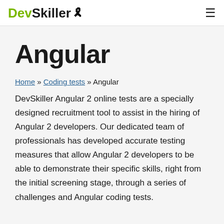DevSkiller [ribbon icon] ≡
Angular
Home » Coding tests » Angular
DevSkiller Angular 2 online tests are a specially designed recruitment tool to assist in the hiring of Angular 2 developers. Our dedicated team of professionals has developed accurate testing measures that allow Angular 2 developers to be able to demonstrate their specific skills, right from the initial screening stage, through a series of challenges and Angular coding tests.